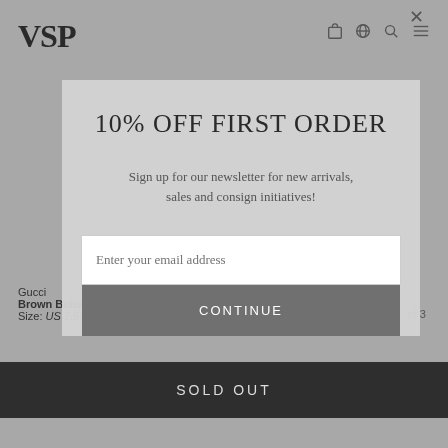VSP
10% OFF FIRST ORDER
Sign up for our newsletter for new arrivals, sales and consign initiatives!
Enter your email address
CONTINUE
Gucci
Brown Betis Glamor Loafer
Size: US 7.5
SOLD OUT